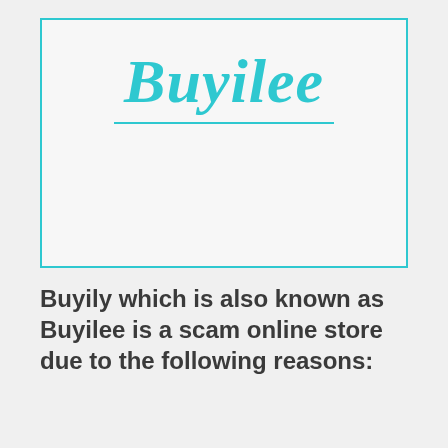[Figure (logo): Buyilee logo in teal/cyan cursive script font with a teal underline, inside a teal-bordered rectangle on light gray background]
Buyily which is also known as Buyilee is a scam online store due to the following reasons: